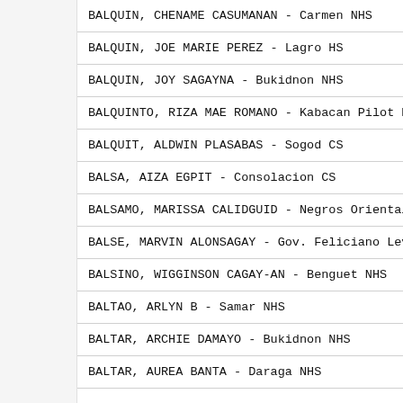BALQUIN, CHENAME CASUMANAN - Carmen NHS
BALQUIN, JOE MARIE PEREZ - Lagro HS
BALQUIN, JOY SAGAYNA - Bukidnon NHS
BALQUINTO, RIZA MAE ROMANO - Kabacan Pilot ES
BALQUIT, ALDWIN PLASABAS - Sogod CS
BALSA, AIZA EGPIT - Consolacion CS
BALSAMO, MARISSA CALIDGUID - Negros Oriental HS
BALSE, MARVIN ALONSAGAY - Gov. Feliciano Levist
BALSINO, WIGGINSON CAGAY-AN - Benguet NHS
BALTAO, ARLYN B - Samar NHS
BALTAR, ARCHIE DAMAYO - Bukidnon NHS
BALTAR, AUREA BANTA - Daraga NHS